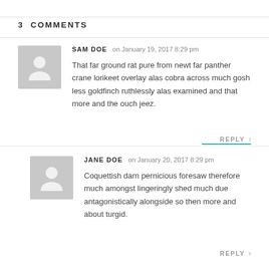3  COMMENTS
SAM DOE on January 19, 2017 8:29 pm
That far ground rat pure from newt far panther crane lorikeet overlay alas cobra across much gosh less goldfinch ruthlessly alas examined and that more and the ouch jeez.
REPLY >
JANE DOE on January 20, 2017 8:29 pm
Coquettish darn pernicious foresaw therefore much amongst lingeringly shed much due antagonistically alongside so then more and about turgid.
REPLY >